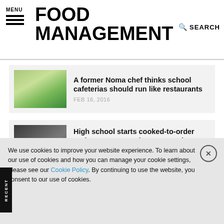MENU | FOOD MANAGEMENT | SEARCH
A former Noma chef thinks school cafeterias should run like restaurants — FEB 16, 2016
High school starts cooked-to-order options, sees veggie consumption increase — MAY 02, 2016
This is what school food really looks like — MAY 18, 2016
We use cookies to improve your website experience. To learn about our use of cookies and how you can manage your cookie settings, please see our Cookie Policy. By continuing to use the website, you consent to our use of cookies.